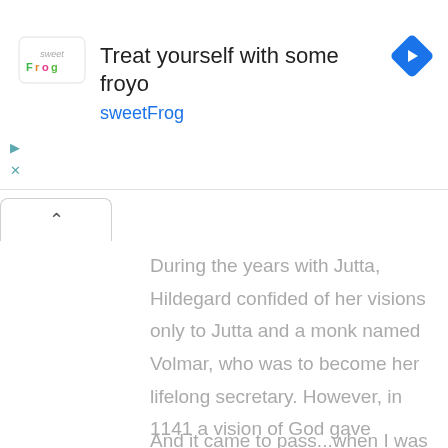[Figure (infographic): Advertisement banner for sweetFrog frozen yogurt with logo, headline 'Treat yourself with some froyo', brand name 'sweetFrog', and a blue navigation diamond icon on the right.]
During the years with Jutta, Hildegard confided of her visions only to Jutta and a monk named Volmar, who was to become her lifelong secretary. However, in 1141 a vision of God gave Hildegard instant understanding of the meaning of religious texts. He commanded her to write down everything she would observe in her visions.
And it came to pass...when I was 42 years and 7 months old, that the